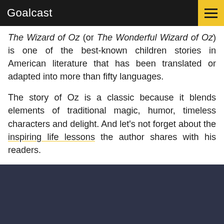Goalcast
The Wizard of Oz (or The Wonderful Wizard of Oz) is one of the best-known children stories in American literature that has been translated or adapted into more than fifty languages.
The story of Oz is a classic because it blends elements of traditional magic, humor, timeless characters and delight. And let's not forget about the inspiring life lessons the author shares with his readers.
[Figure (other): Dark navy/slate colored image block at the bottom of the page]